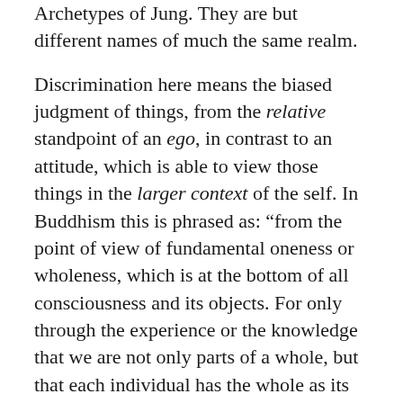Archetypes of Jung. They are but different names of much the same realm.
Discrimination here means the biased judgment of things, from the relative standpoint of an ego, in contrast to an attitude, which is able to view those things in the larger context of the self. In Buddhism this is phrased as: “from the point of view of fundamental oneness or wholeness, which is at the bottom of all consciousness and its objects. For only through the experience or the knowledge that we are not only parts of a whole, but that each individual has the whole as its basis, being a conscious expression of the whole – only through this experience are we awakened into reality, into a state of utter freedom.”[36] This perspective aligns very well with the unique